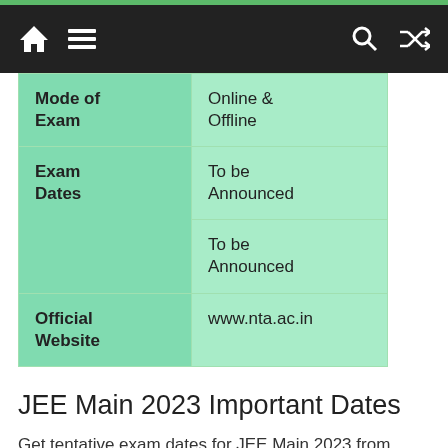Navigation bar with home, menu, search, and shuffle icons
| Mode of Exam | Online & Offline |
| Exam Dates | To be Announced |
|  | To be Announced |
| Official Website | www.nta.ac.in |
JEE Main 2023 Important Dates
Get tentative exam dates for JEE Main 2023 from below: